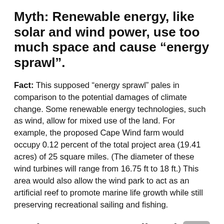Myth: Renewable energy, like solar and wind power, use too much space and cause “energy sprawl”.
Fact: This supposed “energy sprawl” pales in comparison to the potential damages of climate change. Some renewable energy technologies, such as wind, allow for mixed use of the land. For example, the proposed Cape Wind farm would occupy 0.12 percent of the total project area (19.41 acres) of 25 square miles. (The diameter of these wind turbines will range from 16.75 ft to 18 ft.) This area would also allow the wind park to act as an artificial reef to promote marine life growth while still preserving recreational sailing and fishing.
Myth: Our energy policy should take an “all of the above” approach – including oil, coal, gas, nuclear